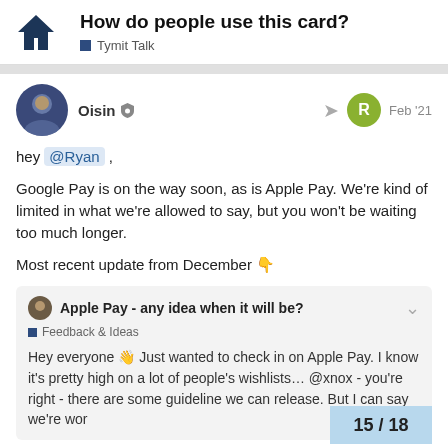How do people use this card? | Tymit Talk
Oisin | Feb '21
hey @Ryan ,
Google Pay is on the way soon, as is Apple Pay. We're kind of limited in what we're allowed to say, but you won't be waiting too much longer.
Most recent update from December 👇
Apple Pay - any idea when it will be? | Feedback & Ideas
Hey everyone 👋 Just wanted to check in on Apple Pay. I know it's pretty high on a lot of people's wishlists... @xnox - you're right - there are some guideline we can release. But I can say we're wor
15 / 18